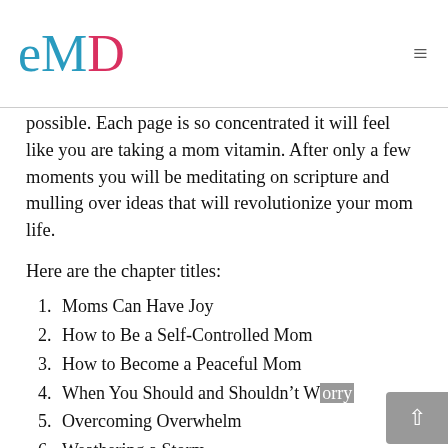eMD — logo and navigation
possible. Each page is so concentrated it will feel like you are taking a mom vitamin. After only a few moments you will be meditating on scripture and mulling over ideas that will revolutionize your mom life.
Here are the chapter titles:
1. Moms Can Have Joy
2. How to Be a Self-Controlled Mom
3. How to Become a Peaceful Mom
4. When You Should and Shouldn't Worry
5. Overcoming Overwhelm
6. Weathering a Storm